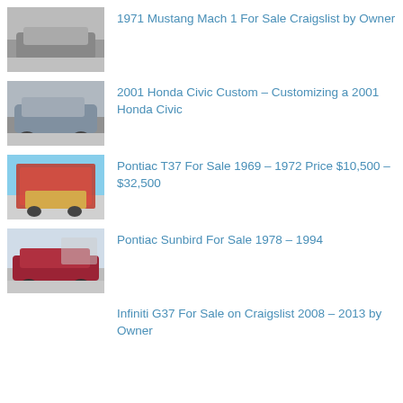1971 Mustang Mach 1 For Sale Craigslist by Owner
2001 Honda Civic Custom – Customizing a 2001 Honda Civic
Pontiac T37 For Sale 1969 – 1972 Price $10,500 – $32,500
Pontiac Sunbird For Sale 1978 – 1994
Infiniti G37 For Sale on Craigslist 2008 – 2013 by Owner